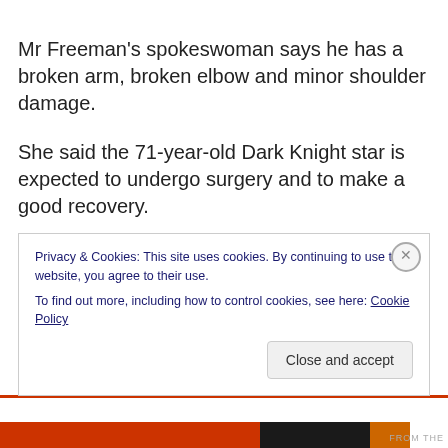Mr Freeman’s spokeswoman says he has a broken arm, broken elbow and minor shoulder damage.
She said the 71-year-old Dark Knight star is expected to undergo surgery and to make a good recovery.
The accident happened shortly before midnight on Sunday outside Charleston in the Mississippi Delta.
Privacy & Cookies: This site uses cookies. By continuing to use this website, you agree to their use.
To find out more, including how to control cookies, see here: Cookie Policy
Close and accept